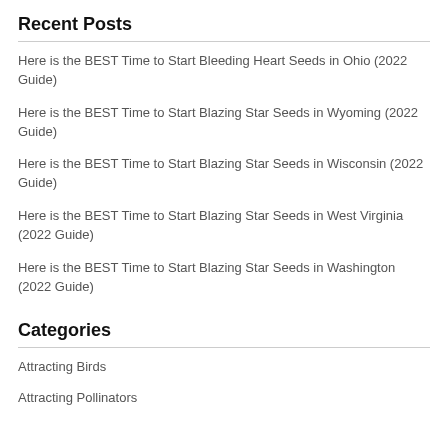Recent Posts
Here is the BEST Time to Start Bleeding Heart Seeds in Ohio (2022 Guide)
Here is the BEST Time to Start Blazing Star Seeds in Wyoming (2022 Guide)
Here is the BEST Time to Start Blazing Star Seeds in Wisconsin (2022 Guide)
Here is the BEST Time to Start Blazing Star Seeds in West Virginia (2022 Guide)
Here is the BEST Time to Start Blazing Star Seeds in Washington (2022 Guide)
Categories
Attracting Birds
Attracting Pollinators